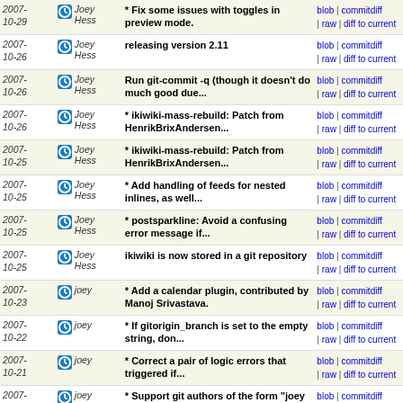| Date | Author | Message | Links |
| --- | --- | --- | --- |
| 2007-10-29 | Joey Hess | * Fix some issues with toggles in preview mode. | blob | commitdiff | raw | diff to current |
| 2007-10-26 | Joey Hess | releasing version 2.11 | blob | commitdiff | raw | diff to current |
| 2007-10-26 | Joey Hess | Run git-commit -q (though it doesn't do much good due... | blob | commitdiff | raw | diff to current |
| 2007-10-26 | Joey Hess | * ikiwiki-mass-rebuild: Patch from HenrikBrixAndersen... | blob | commitdiff | raw | diff to current |
| 2007-10-25 | Joey Hess | * ikiwiki-mass-rebuild: Patch from HenrikBrixAndersen... | blob | commitdiff | raw | diff to current |
| 2007-10-25 | Joey Hess | * Add handling of feeds for nested inlines, as well... | blob | commitdiff | raw | diff to current |
| 2007-10-25 | Joey Hess | * postsparkline: Avoid a confusing error message if... | blob | commitdiff | raw | diff to current |
| 2007-10-25 | Joey Hess | ikiwiki is now stored in a git repository | blob | commitdiff | raw | diff to current |
| 2007-10-23 | joey | * Add a calendar plugin, contributed by Manoj Srivastava. | blob | commitdiff | raw | diff to current |
| 2007-10-22 | joey | * If gitorigin_branch is set to the empty string, don... | blob | commitdiff | raw | diff to current |
| 2007-10-21 | joey | * Correct a pair of logic errors that triggered if... | blob | commitdiff | raw | diff to current |
| 2007-10-21 | joey | * Support git authors of the form "joey <joey>", which... | blob | commitdiff | raw | diff to current |
| 2007-10-16 | joey | * Danish translation from Jonas Smedegaard. Closes: #446952 | blob | commitdiff | raw | diff to current |